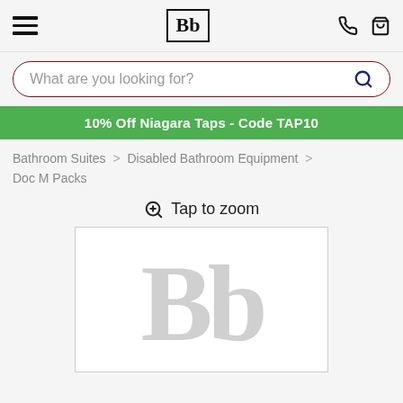Bb logo header with hamburger menu, phone icon, and basket icon
What are you looking for?
10% Off Niagara Taps - Code TAP10
Bathroom Suites > Disabled Bathroom Equipment > Doc M Packs
Tap to zoom
[Figure (logo): Large Bb logo watermark on white background with light grey border]